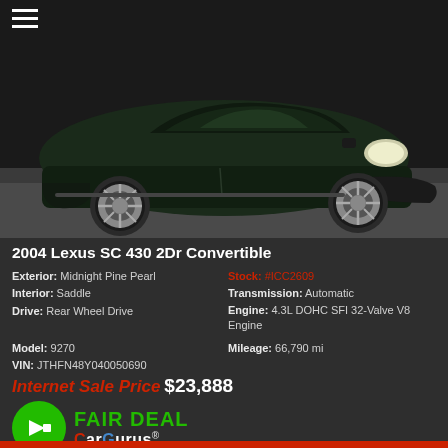[Figure (photo): 2004 Lexus SC 430 2Dr Convertible, black/dark green exterior, photographed from the side in a showroom, showing alloy wheels and front headlights]
2004 Lexus SC 430 2Dr Convertible
Exterior: Midnight Pine Pearl | Stock: #ICC2609
Interior: Saddle | Transmission: Automatic
Drive: Rear Wheel Drive | Engine: 4.3L DOHC SFI 32-Valve V8 Engine
Model: 9270 | Mileage: 66,790 mi
VIN: JTHFN48Y040050690
Internet Sale Price $23,888
[Figure (logo): FAIR DEAL CarGurus logo with green circle containing white arrow, green FAIR DEAL text, and CarGurus wordmark]